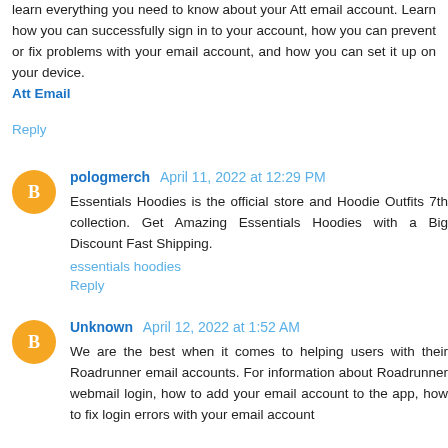learn everything you need to know about your Att email account. Learn how you can successfully sign in to your account, how you can prevent or fix problems with your email account, and how you can set it up on your device.
Att Email
Reply
pologmerch April 11, 2022 at 12:29 PM
Essentials Hoodies is the official store and Hoodie Outfits 7th collection. Get Amazing Essentials Hoodies with a Big Discount Fast Shipping.
essentials hoodies
Reply
Unknown April 12, 2022 at 1:52 AM
We are the best when it comes to helping users with their Roadrunner email accounts. For information about Roadrunner webmail login, how to add your email account to the app, how to fix login errors with your email account